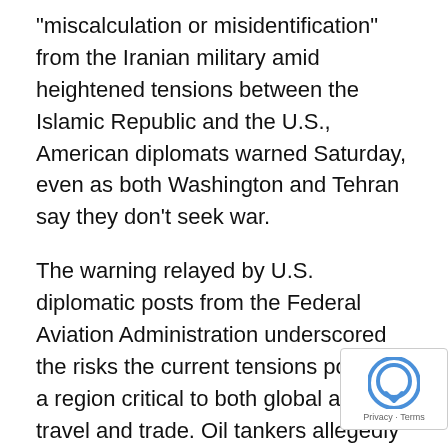“miscalculation or misidentification” from the Iranian military amid heightened tensions between the Islamic Republic and the U.S., American diplomats warned Saturday, even as both Washington and Tehran say they don’t seek war.
The warning relayed by U.S. diplomatic posts from the Federal Aviation Administration underscored the risks the current tensions pose to a region critical to both global air travel and trade. Oil tankers allegedly have faced sabotage and Yemen rebel drones attacked a crucial Saudi oil pipeline over the last week.
Meanwhile on Saturday, Iraqi officials said ExxonMobil Corp. began evacuating staff from Basra, and the island nation of Bahrain ordered its citizens out of Iraq and Iran over “the recent escalations and threats.”